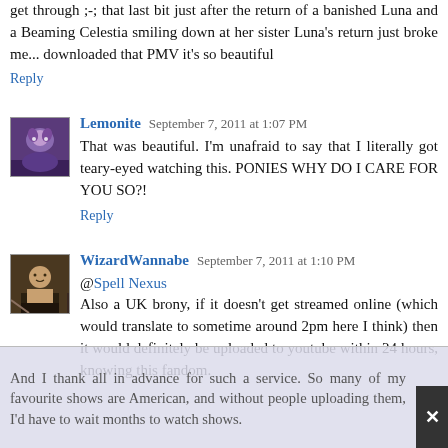get through ;-; that last bit just after the return of a banished Luna and a Beaming Celestia smiling down at her sister Luna's return just broke me... downloaded that PMV it's so beautiful
Reply
Lemonite  September 7, 2011 at 1:07 PM
That was beautiful. I'm unafraid to say that I literally got teary-eyed watching this. PONIES WHY DO I CARE FOR YOU SO?!
Reply
WizardWannabe  September 7, 2011 at 1:10 PM
@Spell Nexus
Also a UK brony, if it doesn't get streamed online (which would translate to sometime around 2pm here I think) then it would definitely be uploaded to youtube within 24 hours, knowing this fandom.
And I thank all in advance for such a service. So many of my favourite shows are American, and without people uploading them, I'd have to wait months to watch shows.